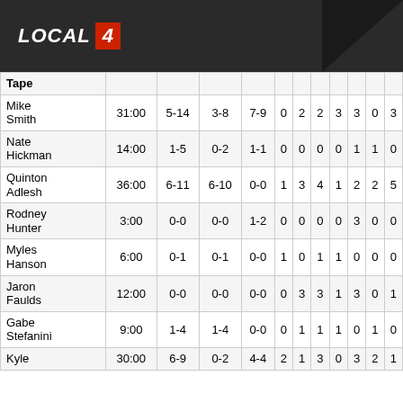LOCAL 4
| Player | MIN | FG | 3P | FT | OREB | DREB | REB | AST | STL | BLK | PTS |
| --- | --- | --- | --- | --- | --- | --- | --- | --- | --- | --- | --- |
| Tape |  |  |  |  |  |  |  |  |  |  |  |
| Mike Smith | 31:00 | 5-14 | 3-8 | 7-9 | 0 | 2 | 2 | 3 | 3 | 0 | 3 |
| Nate Hickman | 14:00 | 1-5 | 0-2 | 1-1 | 0 | 0 | 0 | 0 | 1 | 1 | 0 |
| Quinton Adlesh | 36:00 | 6-11 | 6-10 | 0-0 | 1 | 3 | 4 | 1 | 2 | 2 | 5 |
| Rodney Hunter | 3:00 | 0-0 | 0-0 | 1-2 | 0 | 0 | 0 | 0 | 3 | 0 | 0 |
| Myles Hanson | 6:00 | 0-1 | 0-1 | 0-0 | 1 | 0 | 1 | 1 | 0 | 0 | 0 |
| Jaron Faulds | 12:00 | 0-0 | 0-0 | 0-0 | 0 | 3 | 3 | 1 | 3 | 0 | 1 |
| Gabe Stefanini | 9:00 | 1-4 | 1-4 | 0-0 | 0 | 1 | 1 | 1 | 0 | 1 | 0 |
| Kyle | 30:00 | 6-9 | 0-2 | 4-4 | 2 | 1 | 3 | 0 | 3 | 2 | 1 |